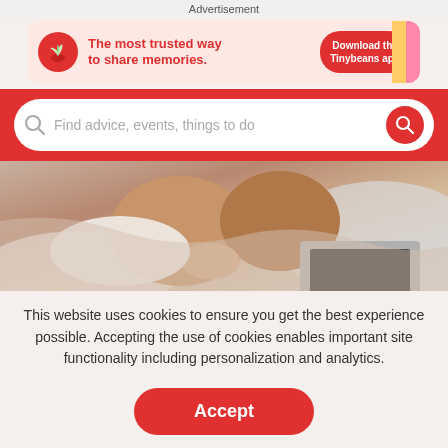Advertisement
[Figure (illustration): Tinybeans app advertisement banner: pink background with red plant/sprout logo icon on left, bold red text 'The most trusted way to share memories.' in center, red rounded button 'Download the Tinybeans app' on right with colorful accent on far right]
[Figure (screenshot): Red search bar with white rounded search input field containing placeholder text 'Find advice, events, things to do' and a red circular search button on the right]
[Figure (photo): Photo of adults and a small child on a bed with a laptop, warm brown/peach tones, partially cropped]
This website uses cookies to ensure you get the best experience possible. Accepting the use of cookies enables important site functionality including personalization and analytics.
Accept
Decline